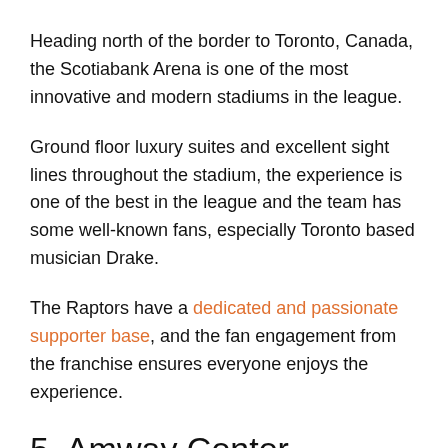Heading north of the border to Toronto, Canada, the Scotiabank Arena is one of the most innovative and modern stadiums in the league.
Ground floor luxury suites and excellent sight lines throughout the stadium, the experience is one of the best in the league and the team has some well-known fans, especially Toronto based musician Drake.
The Raptors have a dedicated and passionate supporter base, and the fan engagement from the franchise ensures everyone enjoys the experience.
5. Amway Center
Although the Orlando Magic have not been one of the NBA's top sides for some time, their home is one that fans love to visit.